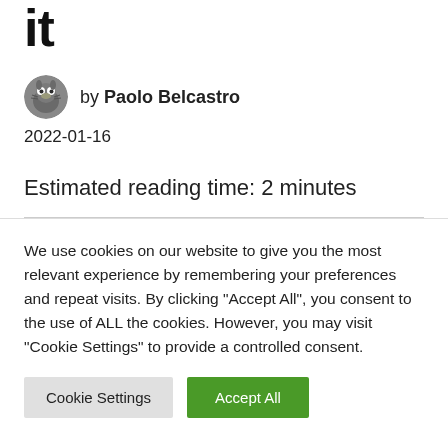it
by Paolo Belcastro
2022-01-16
Estimated reading time: 2 minutes
We use cookies on our website to give you the most relevant experience by remembering your preferences and repeat visits. By clicking "Accept All", you consent to the use of ALL the cookies. However, you may visit "Cookie Settings" to provide a controlled consent.